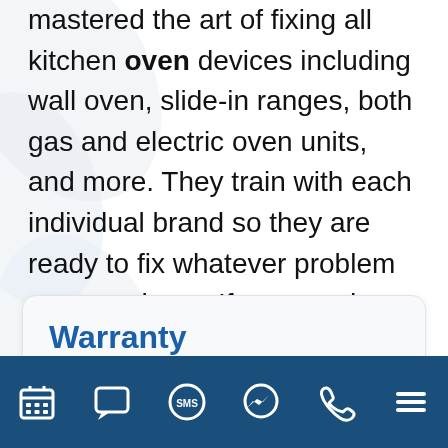mastered the art of fixing all kitchen oven devices including wall oven, slide-in ranges, both gas and electric oven units, and more. They train with each individual brand so they are ready to fix whatever problem you may have. If you need Oven repair in Sparks Nv, call us today for immediate oven repair service.
Warranty
[Figure (infographic): Bottom navigation bar with 6 icons: calendar/grid, chat bubble, SMS, Messenger, phone, and menu (hamburger)]